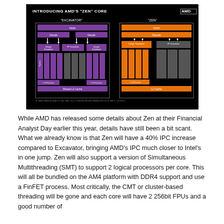[Figure (schematic): AMD slide titled 'INTRODUCING AMD'S ZEN CORE' showing block diagram comparison between Excavator (left, purple) and Zen (right, orange) CPU core architectures, with AMD logo top right.]
While AMD has released some details about Zen at their Financial Analyst Day earlier this year, details have still been a bit scant. What we already know is that Zen will have a 40% IPC increase compared to Excavator, bringing AMD's IPC much closer to Intel's in one jump. Zen will also support a version of Simultaneous Multithreading (SMT) to support 2 logical processors per core. This will all be bundled on the AM4 platform with DDR4 support and use a FinFET process. Most critically, the CMT or cluster-based threading will be gone and each core will have 2 256bit FPUs and a good number of